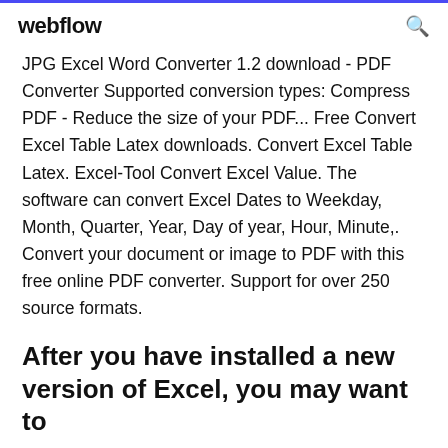webflow
JPG Excel Word Converter 1.2 download - PDF Converter Supported conversion types: Compress PDF - Reduce the size of your PDF... Free Convert Excel Table Latex downloads. Convert Excel Table Latex. Excel-Tool Convert Excel Value. The software can convert Excel Dates to Weekday, Month, Quarter, Year, Day of year, Hour, Minute,. Convert your document or image to PDF with this free online PDF converter. Support for over 250 source formats.
After you have installed a new version of Excel, you may want to